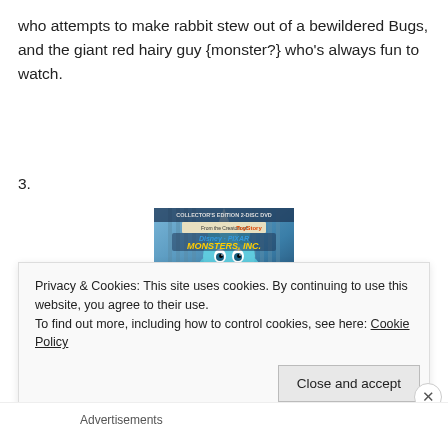who attempts to make rabbit stew out of a bewildered Bugs, and the giant red hairy guy {monster?} who's always fun to watch.
3.
[Figure (photo): Monsters, Inc. Collector's Edition 2-Disc DVD movie cover showing Sulley character on the front.]
Privacy & Cookies: This site uses cookies. By continuing to use this website, you agree to their use.
To find out more, including how to control cookies, see here: Cookie Policy
Close and accept
Advertisements